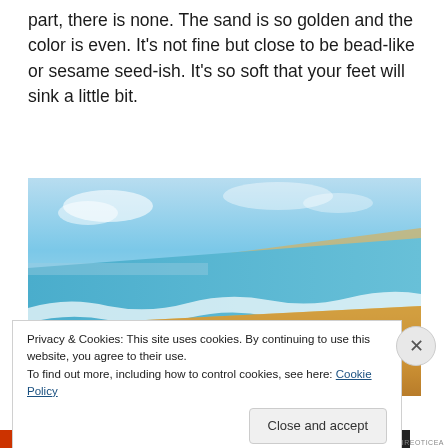part, there is none. The sand is so golden and the color is even. It's not fine but close to be bead-like or sesame seed-ish. It's so soft that your feet will sink a little bit.
[Figure (photo): A beach scene with golden sand and turquoise/blue ocean waves washing up on shore, with a light blue sky in the background.]
Privacy & Cookies: This site uses cookies. By continuing to use this website, you agree to their use.
To find out more, including how to control cookies, see here: Cookie Policy
Close and accept